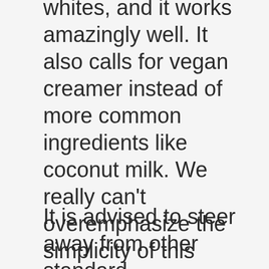whites, and it works amazingly well. It also calls for vegan creamer instead of more common ingredients like coconut milk. We really can't overemphasize the simplicity of this recipe. If you're willing to pick up a few pre-made vegan items, you can have this dessert on your table in no time.
It is advised to steer away from other standard substitutions like applesauce for eggs because